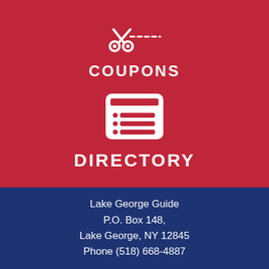[Figure (illustration): Coupon scissors/cut icon in white on red background]
COUPONS
[Figure (illustration): Directory list icon — white rounded rectangle with list rows on red background]
DIRECTORY
Lake George Guide
P.O. Box 148,
Lake George, NY 12845
Phone (518) 668-4887